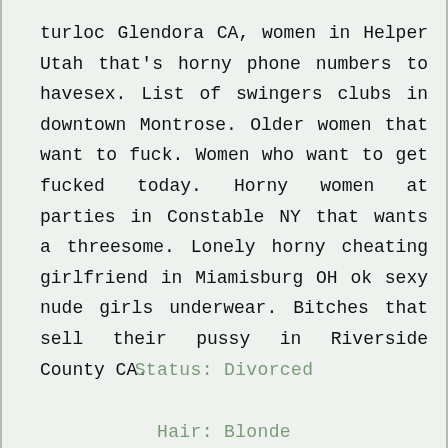turloc Glendora CA, women in Helper Utah that's horny phone numbers to havesex. List of swingers clubs in downtown Montrose. Older women that want to fuck. Women who want to get fucked today. Horny women at parties in Constable NY that wants a threesome. Lonely horny cheating girlfriend in Miamisburg OH ok sexy nude girls underwear. Bitches that sell their pussy in Riverside County CA.
Status: Divorced
Hair: Blonde